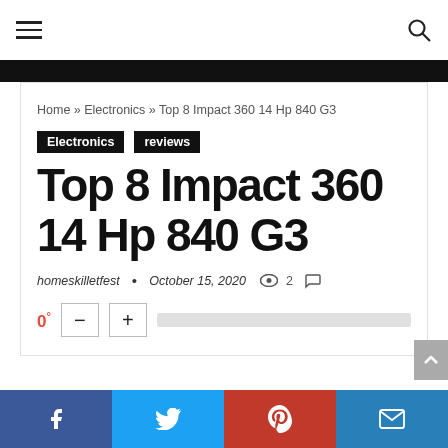≡  🔍
Home » Electronics » Top 8 Impact 360 14 Hp 840 G3
Electronics  reviews
Top 8 Impact 360 14 Hp 840 G3
homeskilletfest  •  October 15, 2020  👁 2  💬
0°  —  +  [progress bar]
f  Twitter  P  ✉